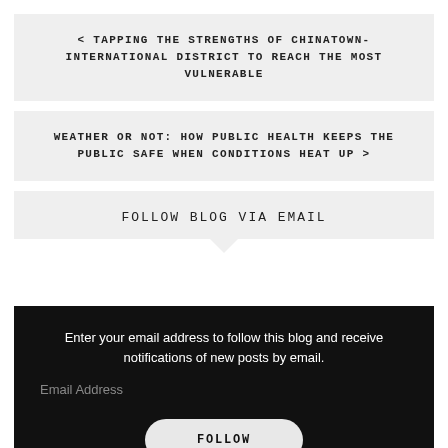< TAPPING THE STRENGTHS OF CHINATOWN-INTERNATIONAL DISTRICT TO REACH THE MOST VULNERABLE
WEATHER OR NOT: HOW PUBLIC HEALTH KEEPS THE PUBLIC SAFE WHEN CONDITIONS HEAT UP >
FOLLOW BLOG VIA EMAIL
Enter your email address to follow this blog and receive notifications of new posts by email.
Email Address
FOLLOW